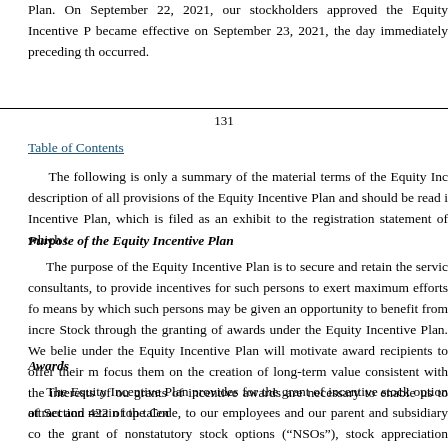Plan. On September 22, 2021, our stockholders approved the Equity Incentive Plan. It became effective on September 23, 2021, the day immediately preceding the IPO which occurred.
131
Table of Contents
The following is only a summary of the material terms of the Equity Incentive Plan. It is not a description of all provisions of the Equity Incentive Plan and should be read in conjunction with the Equity Incentive Plan, which is filed as an exhibit to the registration statement of which this prospectus forms a part.
Purpose of the Equity Incentive Plan
The purpose of the Equity Incentive Plan is to secure and retain the services of employees, directors and consultants, to provide incentives for such persons to exert maximum efforts for the success of the company, and to provide means by which such persons may be given an opportunity to benefit from increases in the value of our Common Stock through the granting of awards under the Equity Incentive Plan. We believe that the ability to grant awards under the Equity Incentive Plan will motivate award recipients to offer their maximum efforts to the company and to focus them on the creation of long-term value consistent with the interests of our stockholders. We believe that grants of incentive awards are necessary to enable us to attract and retain top talent.
Awards
The Equity Incentive Plan provides for the grant of incentive stock options that qualify under the requirements of Section 422 of the Code, to our employees and our parent and subsidiary corporations' employees, and for the grant of nonstatutory stock options (“NSOs”), stock appreciation rights, restricted stock awards, restricted stock unit awards, performance awards and other forms of awards to our employees, directors and consultants, and any of our affiliates’ employees and consultants. As of December 31, 2021